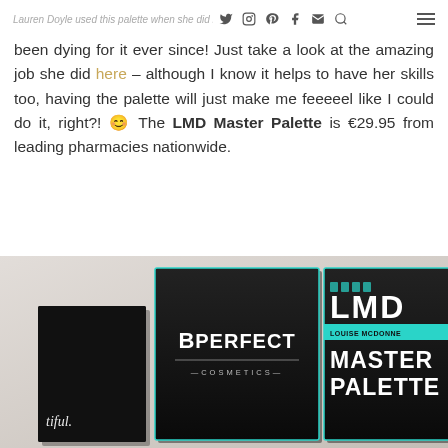Lauren Doyle used this palette when she did my makeup for the Best of Wexford event [navigation icons] [hamburger menu]
been dying for it ever since! Just take a look at the amazing job she did here – although I know it helps to have her skills too, having the palette will just make me feeeeel like I could do it, right?! 😊 The LMD Master Palette is €29.95 from leading pharmacies nationwide.
[Figure (photo): Photo of two makeup palette boxes: a BPerfect Cosmetics box and an LMD Louise McDonnell Master Palette box, with a dark book on the left showing the word 'beautiful.' in white text, set against a neutral beige background.]